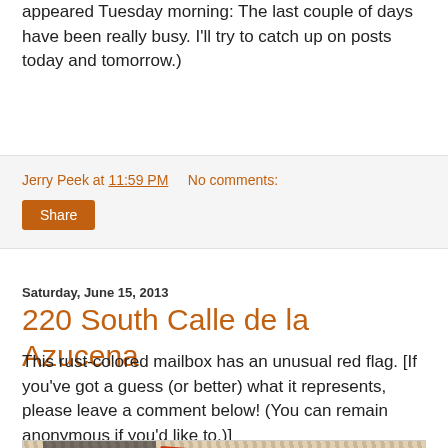appeared Tuesday morning: The last couple of days have been really busy. I'll try to catch up on posts today and tomorrow.)
Jerry Peek at 11:59 PM   No comments:
Share
Saturday, June 15, 2013
220 South Calle de la Azucena
This rust-colored mailbox has an unusual red flag. [If you've got a guess (or better) what it represents, please leave a comment below! (You can remain anonymous if you'd like to.)]
[Figure (photo): Photograph of a rust-colored mailbox with an unusual red flag, surrounded by dry grass or straw-like vegetation]